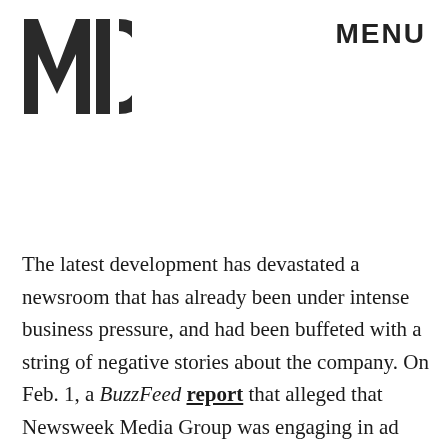MIC  MENU
The latest development has devastated a newsroom that has already been under intense business pressure, and had been buffeted with a string of negative stories about the company. On Feb. 1, a BuzzFeed report that alleged that Newsweek Media Group was engaging in ad fraud rocked the newsroom and made some staffers fear for the company's